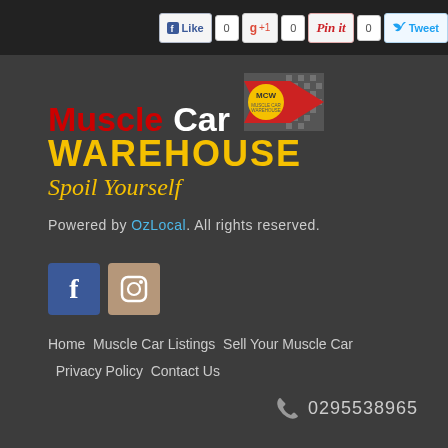Like 0  +1 0  Pin it 0  Tweet
[Figure (logo): Muscle Car Warehouse logo with MCW badge and red arrow, tagline Spoil Yourself]
Powered by OzLocal. All rights reserved.
[Figure (other): Social media icons: Facebook and Instagram]
Home  Muscle Car Listings  Sell Your Muscle Car  Privacy Policy  Contact Us
0295538965